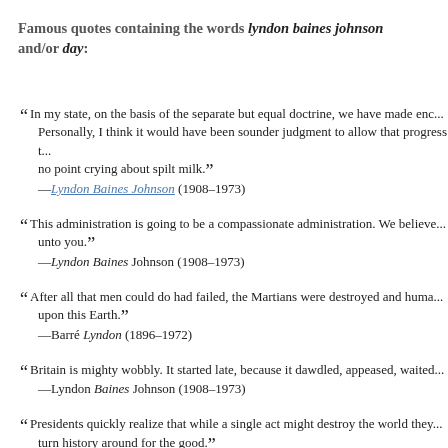Famous quotes containing the words lyndon baines johnson and/or day:
“ In my state, on the basis of the separate but equal doctrine, we have made enc... Personally, I think it would have been sounder judgment to allow that progress t... no point crying about spilt milk.”
—Lyndon Baines Johnson (1908–1973)
“ This administration is going to be a compassionate administration. We believe... unto you.”
—Lyndon Baines Johnson (1908–1973)
“ After all that men could do had failed, the Martians were destroyed and huma... upon this Earth.”
—Barré Lyndon (1896–1972)
“ Britain is mighty wobbly. It started late, because it dawdled, appeased, waited...
—Lyndon Baines Johnson (1908–1973)
“ Presidents quickly realize that while a single act might destroy the world they... turn history around for the good.”